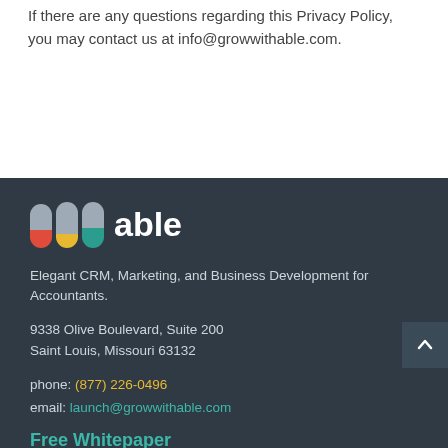If there are any questions regarding this Privacy Policy, you may contact us at info@growwithable.com.
[Figure (logo): Able CRM logo with three colored bar icons (red, yellow, teal) and the word 'able' in white bold text]
Elegant CRM, Marketing, and Business Development for Accountants.
9338 Olive Boulevard, Suite 200
Saint Louis, Missouri 63132
phone: (877) 226-0496
email: launch@growwithable.com
Free Whitepaper